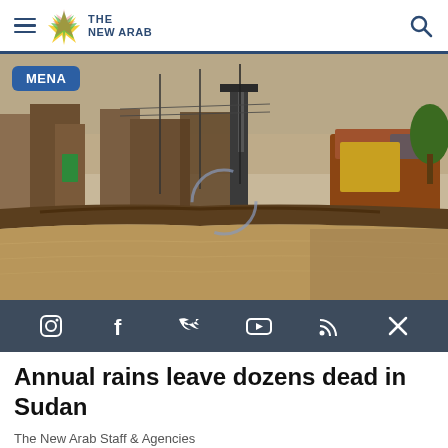THE NEW ARAB
[Figure (photo): Flooded area in Sudan with damaged buildings, debris, muddy water, and heavy machinery visible. A loading/spinning indicator circle is overlaid on the image.]
MENA
Social media icons: Instagram, Facebook, Twitter/X, YouTube, RSS, X
Annual rains leave dozens dead in Sudan
The New Arab Staff & Agencies
Privacy Policy | Terms of Use | Sitemap
Most Viewed ▲